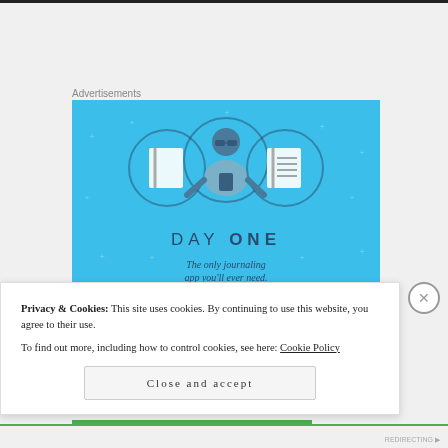Advertisements
[Figure (illustration): Day One journaling app advertisement on blue background featuring illustrated person with notebook icons and text 'DAY ONE - The only journaling app you'll ever need.']
Privacy & Cookies: This site uses cookies. By continuing to use this website, you agree to their use.
To find out more, including how to control cookies, see here: Cookie Policy
Close and accept